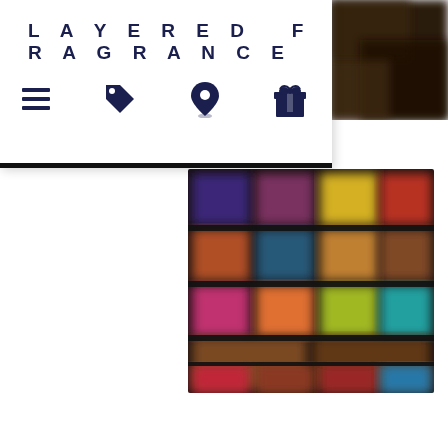[Figure (screenshot): Layered Fragrance website navigation bar with brand name 'LAYERED FRAGRANCE', hamburger menu icon, price tag icon, location pin icon, and gift box icon on white background]
[Figure (screenshot): Blurred product grid showing colorful fragrance/cologne product bottles arranged in rows on dark shelves, colors include purple, orange, yellow, teal, red, brown tones]